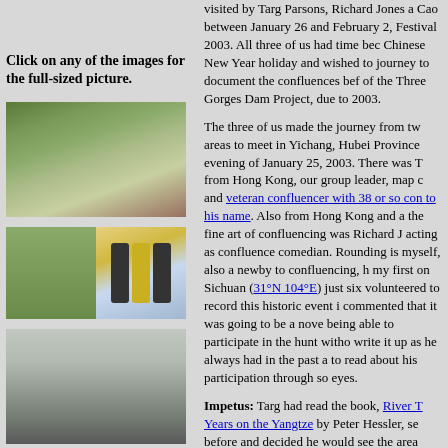Click on any of the images for the full-sized picture.
[Figure (photo): Terraced hillside landscape with logs/timber and cultivated terraces]
[Figure (photo): Two side-by-side photos: left shows green field/nursery, right shows three GPS devices (black, yellow, black)]
[Figure (photo): Person in foggy/snowy forest holding a red umbrella]
[Figure (photo): Foggy landscape with a tower or pagoda structure visible]
visited by Targ Parsons, Richard Jones a Cao between January 26 and February 2, Festival 2003. All three of us had time bec Chinese New Year holiday and wished to journey to document the confluences bef of the Three Gorges Dam Project, due to 2003.
The three of us made the journey from tw areas to meet in Yichang, Hubei Province evening of January 25, 2003. There was T from Hong Kong, our group leader, map c and veteran confluencer with 38 or so con to his name. Also from Hong Kong and a the fine art of confluencing was Richard J acting as confluence comedian. Rounding is myself, also a newby to confluencing, h my first on Sichuan (31°N 104°E) just six volunteered to record this historic event i commented that it was going to be a nove being able to participate in the hunt witho write it up as he always had in the past a to read about his participation through so eyes.
Impetus: Targ had read the book, River T Years on the Yangtze by Peter Hessler, se before and decided he would see the area attempting to visit several confluences. Th describes the life of an English teacher liv Sichuan in the late 90's.